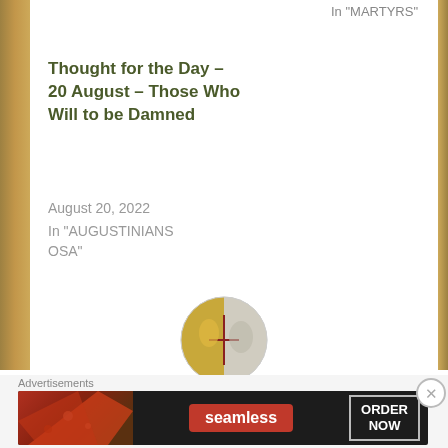In "MARTYRS"
Thought for the Day – 20 August – Those Who Will to be Damned
August 20, 2022
In "AUGUSTINIANS OSA"
[Figure (photo): Circular avatar image showing a religious figure with gold and white papal/religious imagery]
Author: AnaStpaul
Advertisements
[Figure (illustration): Seamless food delivery advertisement banner with pizza image, Seamless red logo button, and ORDER NOW text in bordered box on dark background]